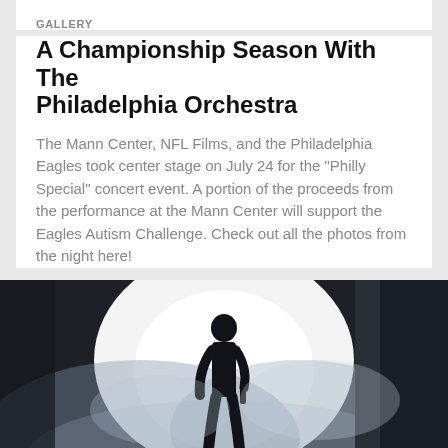GALLERY
A Championship Season With The Philadelphia Orchestra
The Mann Center, NFL Films, and the Philadelphia Eagles took center stage on July 24 for the "Philly Special" concert event. A portion of the proceeds from the performance at the Mann Center will support the Eagles Autism Challenge. Check out all the photos from the night here!
[Figure (photo): Silhouette of a performer standing on stage with bright backlighting and dramatic smoke/fog effects, holding what appears to be a microphone or instrument, crowd visible in foreground.]